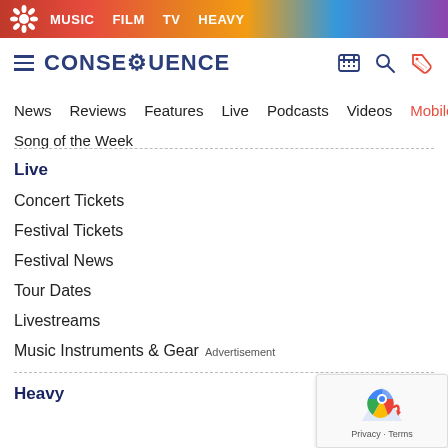MUSIC  FILM  TV  HEAVY
[Figure (logo): Consequence of Sound logo with hamburger menu and icons]
News  Reviews  Features  Live  Podcasts  Videos  Mobile A
Song of the Week
Live
Concert Tickets
Festival Tickets
Festival News
Tour Dates
Livestreams
Music Instruments & Gear Advertisement
Heavy